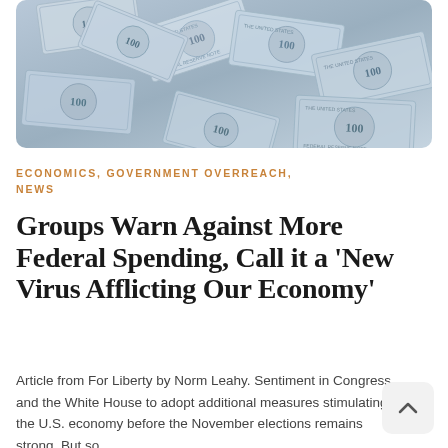[Figure (photo): Pile of $100 US dollar bills spread out, filling the entire frame]
ECONOMICS, GOVERNMENT OVERREACH, NEWS
Groups Warn Against More Federal Spending, Call it a ‘New Virus Afflicting Our Economy’
Article from For Liberty by Norm Leahy. Sentiment in Congress and the White House to adopt additional measures stimulating the U.S. economy before the November elections remains strong. But so,…